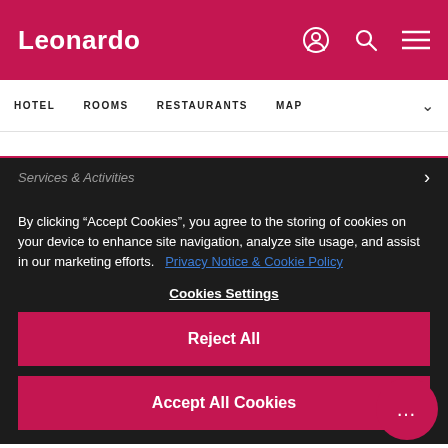Leonardo
HOTEL   ROOMS   RESTAURANTS   MAP
Services & Activities
By clicking “Accept Cookies”, you agree to the storing of cookies on your device to enhance site navigation, analyze site usage, and assist in our marketing efforts.  Privacy Notice & Cookie Policy
Cookies Settings
Reject All
Accept All Cookies